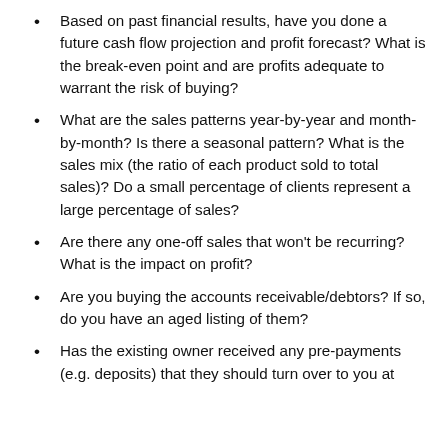Based on past financial results, have you done a future cash flow projection and profit forecast? What is the break-even point and are profits adequate to warrant the risk of buying?
What are the sales patterns year-by-year and month-by-month? Is there a seasonal pattern? What is the sales mix (the ratio of each product sold to total sales)? Do a small percentage of clients represent a large percentage of sales?
Are there any one-off sales that won't be recurring? What is the impact on profit?
Are you buying the accounts receivable/debtors? If so, do you have an aged listing of them?
Has the existing owner received any pre-payments (e.g. deposits) that they should turn over to you at